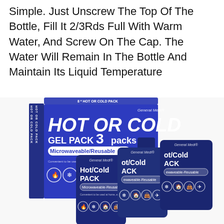Simple. Just Unscrew The Top Of The Bottle, Fill It 2/3Rds Full With Warm Water, And Screw On The Cap. The Water Will Remain In The Bottle And Maintain Its Liquid Temperature
[Figure (photo): Product photo of General Medi Hot Or Cold Gel Pack 3 packs box (Microwaveable/Reusable) with three individual navy blue Hot/Cold Pack pouches displayed in front of the box.]